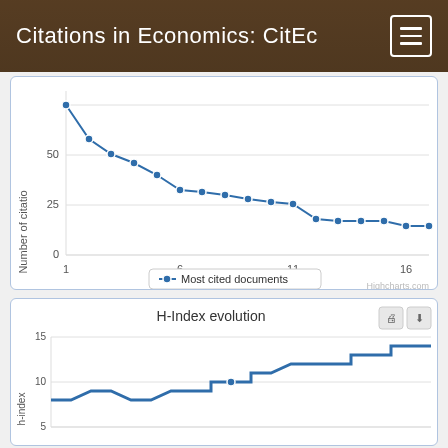Citations in Economics: CitEc
[Figure (line-chart): Most cited documents]
[Figure (line-chart): H-Index evolution]